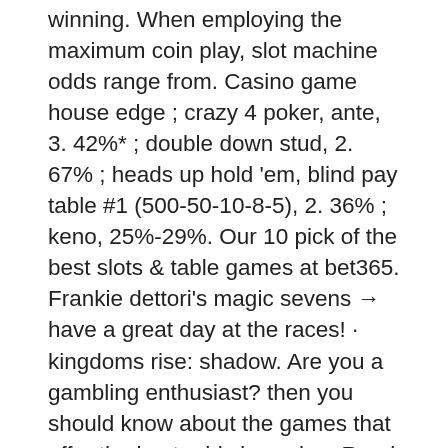winning. When employing the maximum coin play, slot machine odds range from. Casino game house edge ; crazy 4 poker, ante, 3. 42%* ; double down stud, 2. 67% ; heads up hold 'em, blind pay table #1 (500-50-10-8-5), 2. 36% ; keno, 25%-29%. Our 10 pick of the best slots &amp; table games at bet365. Frankie dettori's magic sevens → have a great day at the races! · kingdoms rise: shadow. Are you a gambling enthusiast? then you should know about the games that offer the best odds in casino. Read on to know about the games that. 1 – blackjack · 2 – baccarat · 3 – texas hold'em bonus · 4 – heads up hold'em · 5 – three-card. Average online casino payout for individual casino games can vary wildly depending on the game played and the player's skill. Casino odds guide - easily learn how to understand the odds and chances of winning at your favourite online casino games. Blackjack has the best odds of winning, with a house edge